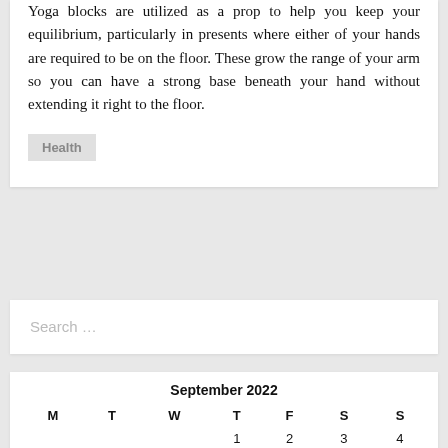Yoga blocks are utilized as a prop to help you keep your equilibrium, particularly in presents where either of your hands are required to be on the floor. These grow the range of your arm so you can have a strong base beneath your hand without extending it right to the floor.
Health
Search …
| M | T | W | T | F | S | S |
| --- | --- | --- | --- | --- | --- | --- |
|  |  |  | 1 | 2 | 3 | 4 |